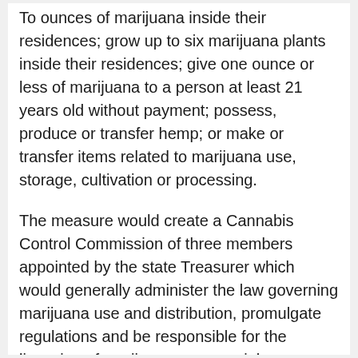To ounces of marijuana inside their residences; grow up to six marijuana plants inside their residences; give one ounce or less of marijuana to a person at least 21 years old without payment; possess, produce or transfer hemp; or make or transfer items related to marijuana use, storage, cultivation or processing.
The measure would create a Cannabis Control Commission of three members appointed by the state Treasurer which would generally administer the law governing marijuana use and distribution, promulgate regulations and be responsible for the licensing of marijuana commercial establishments.
The proposed law would also create a Cannabis Advisory Board of 15 members appointed by the Governor. The Cannabis Control Commission would